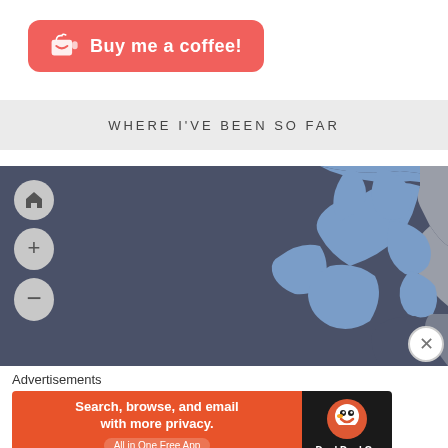[Figure (other): Buy me a coffee button — red/coral rounded rectangle with coffee cup icon and text 'Buy me a coffee!']
WHERE I'VE BEEN SO FAR
[Figure (map): Interactive map showing visited countries highlighted in blue (including Ireland, UK, and Scandinavia) on a dark navy background. Map controls: home icon, plus (+), and minus (-) zoom buttons on the left side.]
Advertisements
[Figure (other): DuckDuckGo advertisement banner: orange background with text 'Search, browse, and email with more privacy. All in One Free App' and DuckDuckGo logo on dark right panel.]